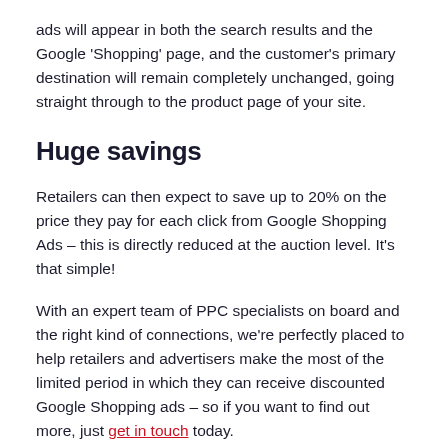ads will appear in both the search results and the Google 'Shopping' page, and the customer's primary destination will remain completely unchanged, going straight through to the product page of your site.
Huge savings
Retailers can then expect to save up to 20% on the price they pay for each click from Google Shopping Ads – this is directly reduced at the auction level. It's that simple!
With an expert team of PPC specialists on board and the right kind of connections, we're perfectly placed to help retailers and advertisers make the most of the limited period in which they can receive discounted Google Shopping ads – so if you want to find out more, just get in touch today.